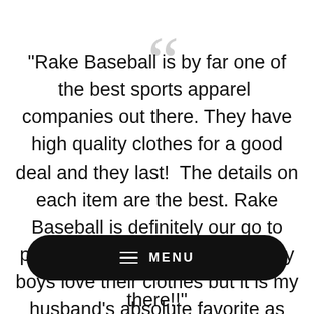"Rake Baseball is by far one of the best sports apparel companies out there. They have high quality clothes for a good deal and they last! The details on each item are the best. Rake Baseball is definitely our go to place for clothes. Not only do my boys love their clothes but it is my husband's absolute favorite as well. He
there!!"